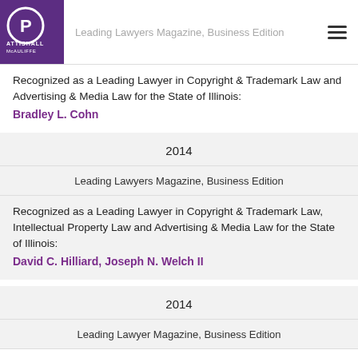Leading Lawyers Magazine, Business Edition
Recognized as a Leading Lawyer in Copyright & Trademark Law and Advertising & Media Law for the State of Illinois: Bradley L. Cohn
2014
Leading Lawyers Magazine, Business Edition
Recognized as a Leading Lawyer in Copyright & Trademark Law, Intellectual Property Law and Advertising & Media Law for the State of Illinois: David C. Hilliard, Joseph N. Welch II
2014
Leading Lawyer Magazine, Business Edition